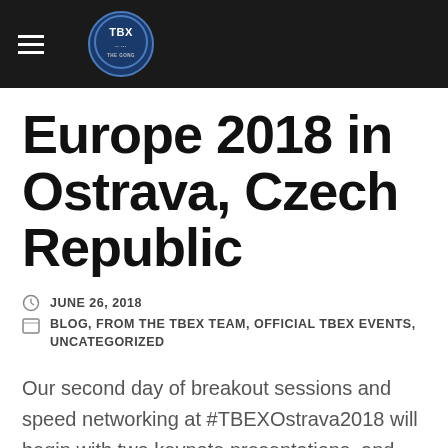TBEX logo and navigation header
Europe 2018 in Ostrava, Czech Republic
JUNE 26, 2018
BLOG, FROM THE TBEX TEAM, OFFICIAL TBEX EVENTS, UNCATEGORIZED
Our second day of breakout sessions and speed networking at #TBEXOstrava2018 will begin with two keynote presentations, and we're thrilled to announce Jeff Hilnbrand as one of those Speakers! Please plan to join us for Jeff's keynote at the Gong on Saturday,